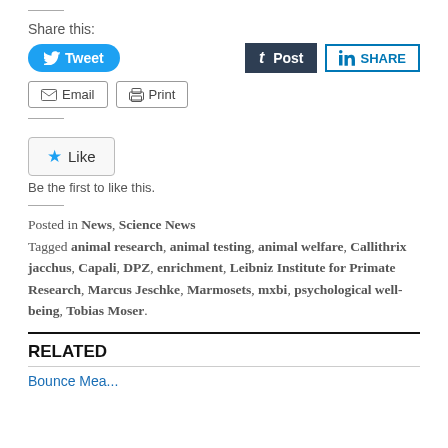Share this:
[Figure (screenshot): Social sharing buttons: Tweet (Twitter/blue), Post (Tumblr/dark), SHARE (LinkedIn/outlined), Email and Print buttons]
[Figure (screenshot): Like button with star icon and text 'Be the first to like this.']
Posted in News, Science News
Tagged animal research, animal testing, animal welfare, Callithrix jacchus, Capali, DPZ, enrichment, Leibniz Institute for Primate Research, Marcus Jeschke, Marmosets, mxbi, psychological well-being, Tobias Moser.
RELATED
Related link (partial, cut off)